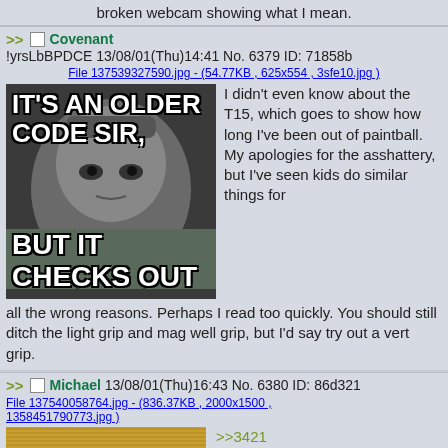broken webcam showing what I mean.
>> Covenant!yrsLbBPDCE 13/08/01(Thu)14:41 No. 6379 ID: 71858b
File 137539327590.jpg - (54.77KB , 625x554 , 3sfe10.jpg )
[Figure (photo): Meme image with text 'IT'S AN OLDER CODE SIR, BUT IT CHECKS OUT' featuring a military officer character]
I didn't even know about the T15, which goes to show how long I've been out of paintball. My apologies for the asshattery, but I've seen kids do similar things for all the wrong reasons. Perhaps I read too quickly. You should still ditch the light grip and mag well grip, but I'd say try out a vert grip.
>> Michael 13/08/01(Thu)16:43 No. 6380 ID: 86d321
File 137540058764.jpg - (836.37KB , 2000x1500 , 1358451790773.jpg )
[Figure (photo): Photo of what appears to be a paintball gun or rifle on a textured surface]
>>3421 Mm, thanks for the advice, I'll check it